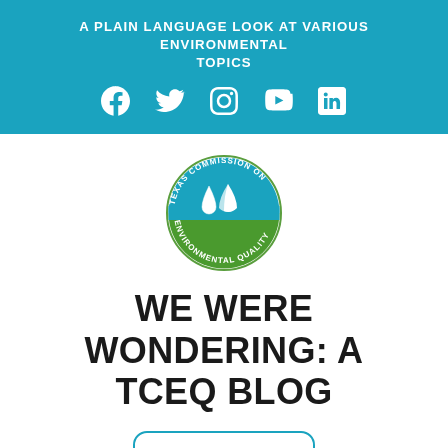A PLAIN LANGUAGE LOOK AT VARIOUS ENVIRONMENTAL TOPICS
[Figure (illustration): Social media icons: Facebook, Twitter, Instagram, YouTube, LinkedIn — white icons on teal background]
[Figure (logo): Texas Commission on Environmental Quality circular seal logo with water drop and leaf icons, green and teal colors]
WE WERE WONDERING: A TCEQ BLOG
[Figure (illustration): Menu button with hamburger icon lines and MENU text, teal rounded rectangle border]
[Figure (illustration): Landscape/mountain silhouette in muted blue-grey at the bottom of the page]